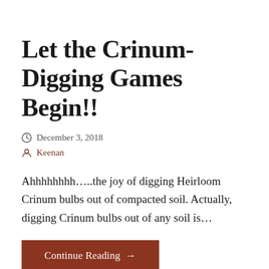Let the Crinum-Digging Games Begin!!
December 3, 2018
Keenan
Ahhhhhhhh…..the joy of digging Heirloom Crinum bulbs out of compacted soil. Actually, digging Crinum bulbs out of any soil is…
Continue Reading →